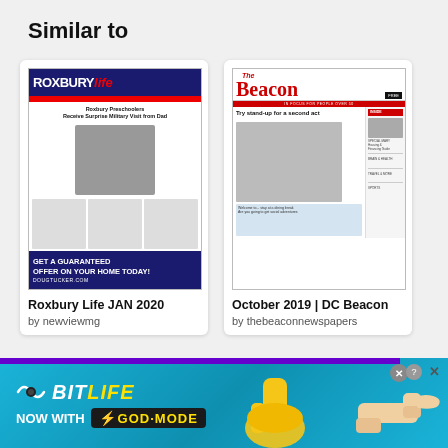Similar to
[Figure (screenshot): Thumbnail of Roxbury Life JAN 2020 magazine cover showing newspaper front page with military family story and real estate advertisement]
Roxbury Life JAN 2020
by newviewmg
[Figure (screenshot): Thumbnail of October 2019 DC Beacon newspaper front page showing headline 'Try stand-up for a second act' with photo of person performing stand-up comedy]
October 2019 | DC Beacon
by thebeaconnewspapers
[Figure (screenshot): Advertisement banner for BitLife game with text 'NOW WITH GOD MODE' on blue background with thumbs up graphic and hand pointing graphic]